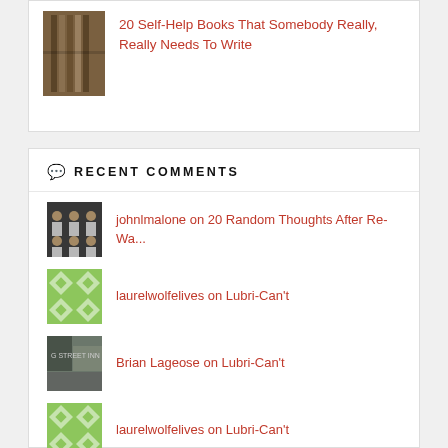20 Self-Help Books That Somebody Really, Really Needs To Write
RECENT COMMENTS
johnlmalone on 20 Random Thoughts After Re-Wa...
laurelwolfelives on Lubri-Can't
Brian Lageose on Lubri-Can't
laurelwolfelives on Lubri-Can't
D. Wallace Peach on Lubri-Can't